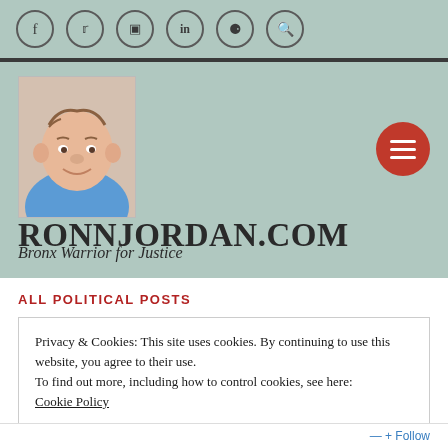Social icons: f, twitter, instagram, in, link, search
[Figure (photo): Profile photo of a man in a blue shirt, headshot]
RONNJORDAN.COM
Bronx Warrior for Justice
ALL POLITICAL POSTS
Privacy & Cookies: This site uses cookies. By continuing to use this website, you agree to their use.
To find out more, including how to control cookies, see here: Cookie Policy
Close and accept